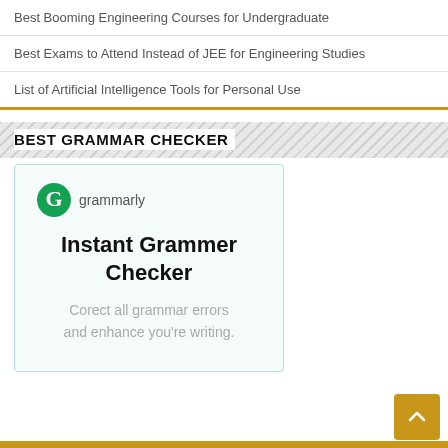Best Booming Engineering Courses for Undergraduate
Best Exams to Attend Instead of JEE for Engineering Studies
List of Artificial Intelligence Tools for Personal Use
BEST GRAMMAR CHECKER
[Figure (other): Grammarly advertisement card with logo, headline 'Instant Grammer Checker' and subtext 'Corect all grammar errors and enhance you're writing.']